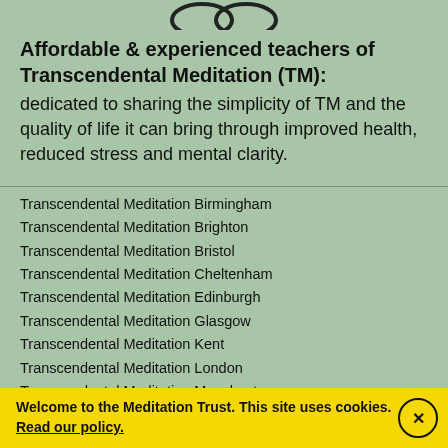[Figure (logo): Two overlapping circular logo marks at top]
Affordable & experienced teachers of Transcendental Meditation (TM):
dedicated to sharing the simplicity of TM and the quality of life it can bring through improved health, reduced stress and mental clarity.
Transcendental Meditation Birmingham
Transcendental Meditation Brighton
Transcendental Meditation Bristol
Transcendental Meditation Cheltenham
Transcendental Meditation Edinburgh
Transcendental Meditation Glasgow
Transcendental Meditation Kent
Transcendental Meditation London
Transcendental Meditation Manchester
Welcome to the Meditation Trust. This site uses cookies. Read our policy.